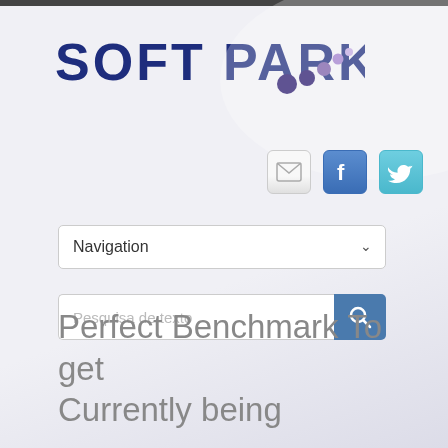[Figure (logo): SOFT PARK logo with dark blue bold text and decorative dots (dark purple, medium purple, light purple) arranged diagonally to the right]
[Figure (infographic): Three social media icon buttons: email/envelope, Facebook (f), and Twitter (bird) — each in a rounded square button style]
Navigation
Pesquisa de texto
Perfect Benchmark To get Currently being